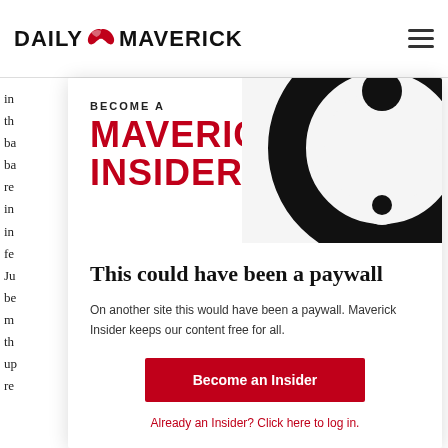DAILY MAVERICK
[Figure (logo): Daily Maverick logo with eagle bird icon]
BECOME A
MAVERICK
INSIDER
[Figure (illustration): Large black swirl/yin-yang style graphic on right side of modal]
This could have been a paywall
On another site this would have been a paywall. Maverick Insider keeps our content free for all.
Become an Insider
Already an Insider? Click here to log in.